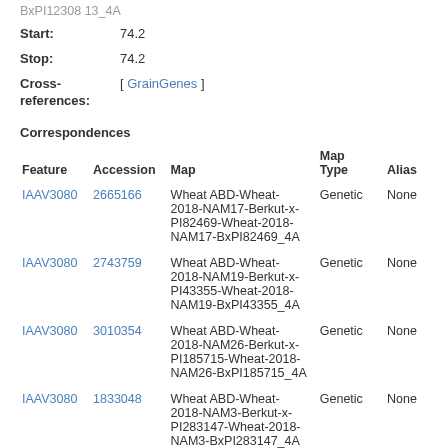BxPI12308 13_4A (truncated top)
Start: 74.2
Stop: 74.2
Cross-references: [ GrainGenes ]
Correspondences
| Feature | Accession | Map | Map Type | Alias |
| --- | --- | --- | --- | --- |
| IAAV3080 | 2665166 | Wheat ABD-Wheat-2018-NAM17-Berkut-x-PI82469-Wheat-2018-NAM17-BxPI82469_4A | Genetic | None |
| IAAV3080 | 2743759 | Wheat ABD-Wheat-2018-NAM19-Berkut-x-PI43355-Wheat-2018-NAM19-BxPI43355_4A | Genetic | None |
| IAAV3080 | 3010354 | Wheat ABD-Wheat-2018-NAM26-Berkut-x-PI185715-Wheat-2018-NAM26-BxPI185715_4A | Genetic | None |
| IAAV3080 | 1833048 | Wheat ABD-Wheat-2018-NAM3-Berkut-x-PI283147-Wheat-2018-NAM3-BxPI283147_4A | Genetic | None |